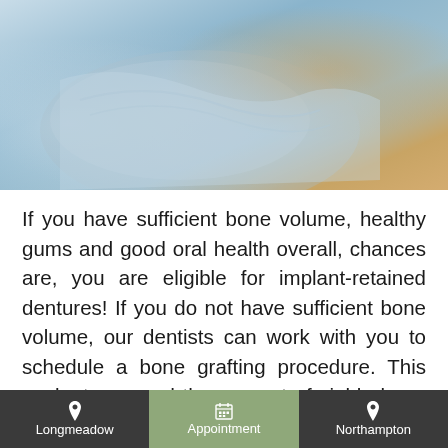[Figure (photo): Close-up photo of a dental patient reclined in a dental chair, wearing a light blue dental bib, with blurred warm-toned background suggesting dental equipment or assistant nearby.]
If you have sufficient bone volume, healthy gums and good oral health overall, chances are, you are eligible for implant-retained dentures! If you do not have sufficient bone volume, our dentists can work with you to schedule a bone grafting procedure. This works to expand the amount of viable bone material inside your jaw, improving your eligibility to receive dental implants. If you have any gum disease or tooth decay present, our office will perform all necessary treatments prior to your implantation. Once your mouth has
Longmeadow   Appointment   Northampton